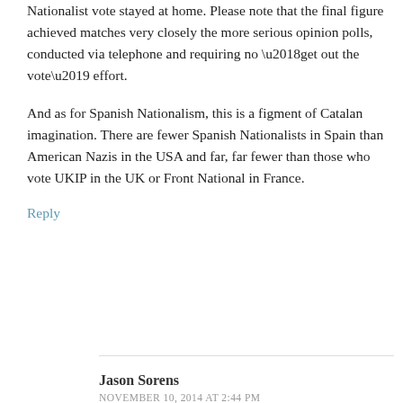Nationalist vote stayed at home. Please note that the final figure achieved matches very closely the more serious opinion polls, conducted via telephone and requiring no ‘get out the vote’ effort.
And as for Spanish Nationalism, this is a figment of Catalan imagination. There are fewer Spanish Nationalists in Spain than American Nazis in the USA and far, far fewer than those who vote UKIP in the UK or Front National in France.
Reply
Jason Sorens
NOVEMBER 10, 2014 AT 2:44 PM